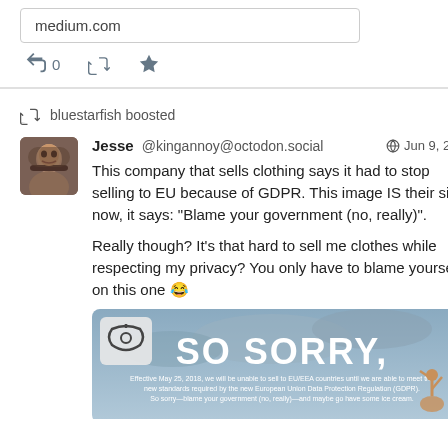medium.com
[Figure (screenshot): Social media post screenshot. Top section shows a URL box with 'medium.com' and action icons (reply 0, retweet, star). Bottom section shows 'bluestarfish boosted' then a post by Jesse @kingannoy@octodon.social dated Jun 9, 2018 reading: 'This company that sells clothing says it had to stop selling to EU because of GDPR. This image IS their site now, it says: "Blame your government (no, really)". Really though? It's that hard to sell me clothes while respecting my privacy? You only have to blame yourself on this one 😂' with an attached image showing 'SO SORRY,' text over a stormy sky background.]